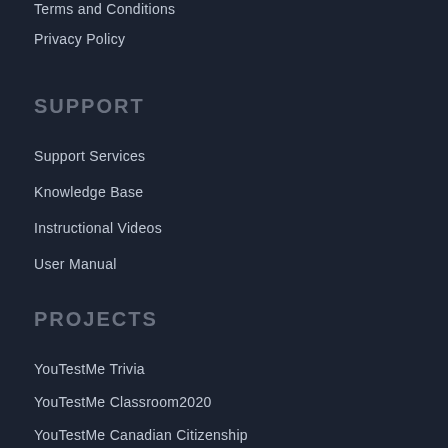Terms and Conditions
Privacy Policy
SUPPORT
Support Services
Knowledge Base
Instructional Videos
User Manual
PROJECTS
YouTestMe Trivia
YouTestMe Classroom2020
YouTestMe Canadian Citizenship